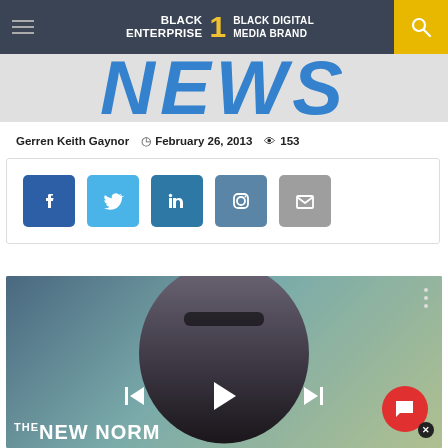BLACK ENTERPRISE — THE #1 BLACK DIGITAL MEDIA BRAND
NEWS
Gerren Keith Gaynor  © February 26, 2013  👁 153
[Figure (screenshot): Social share buttons: Facebook, Twitter, LinkedIn, Instagram, Email]
[Figure (photo): Video player showing a man in sunglasses and suit jacket, with THE NEW NORM title overlay and playback controls]